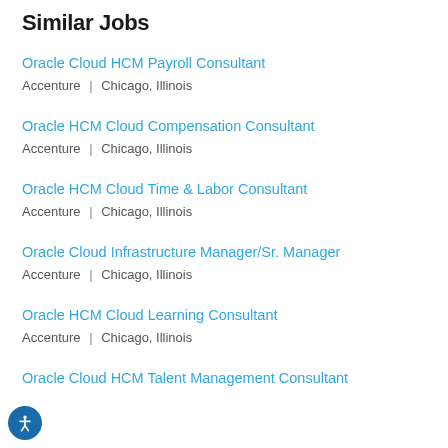Similar Jobs
Oracle Cloud HCM Payroll Consultant
Accenture | Chicago, Illinois
Oracle HCM Cloud Compensation Consultant
Accenture | Chicago, Illinois
Oracle HCM Cloud Time & Labor Consultant
Accenture | Chicago, Illinois
Oracle Cloud Infrastructure Manager/Sr. Manager
Accenture | Chicago, Illinois
Oracle HCM Cloud Learning Consultant
Accenture | Chicago, Illinois
Oracle Cloud HCM Talent Management Consultant